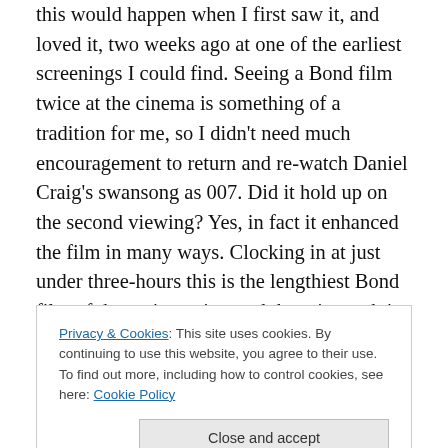this would happen when I first saw it, and loved it, two weeks ago at one of the earliest screenings I could find. Seeing a Bond film twice at the cinema is something of a tradition for me, so I didn't need much encouragement to return and re-watch Daniel Craig's swansong as 007. Did it hold up on the second viewing? Yes, in fact it enhanced the film in many ways. Clocking in at just under three-hours this is the lengthiest Bond film of the entire series, and there is much in it to chew over. Rather than do a traditional review, I thought I'd pull out a few things from the film that either pleased or irked me this time round.
Privacy & Cookies: This site uses cookies. By continuing to use this website, you agree to their use. To find out more, including how to control cookies, see here: Cookie Policy
even argue sexy. However, for an action film oddly